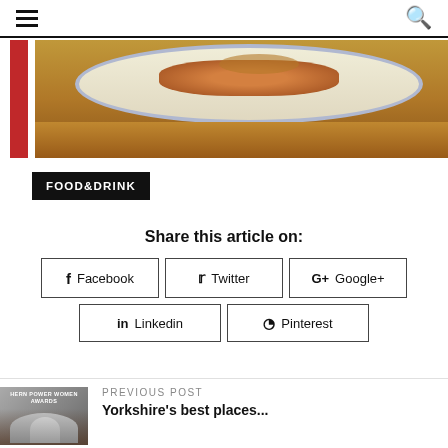Navigation header with hamburger menu and search icon
[Figure (photo): Close-up photo of a plate of food on a wooden table, partially cropped. Blue-rimmed ceramic plate with food visible from above.]
FOOD&DRINK
Share this article on:
Facebook
Twitter
Google+
Linkedin
Pinterest
PREVIOUS POST
Yorkshire's best places...